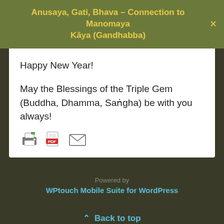Anusaya, Gati, Bhava – Connection to Manomaya Kāya (Gandhabba)
Happy New Year!

May the Blessings of the Triple Gem (Buddha, Dhamma, Saṅgha) be with you always!
[Figure (other): Row of three icons: print icon, PDF icon, email/envelope icon]
Powered by
WPtouch Mobile Suite for WordPress
⌃ Back to top
Mobile  Desktop